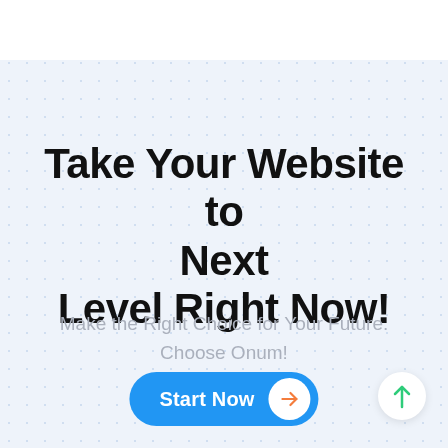Take Your Website to Next Level Right Now!
Make the Right Choice for Your Future. Choose Onum!
Start Now